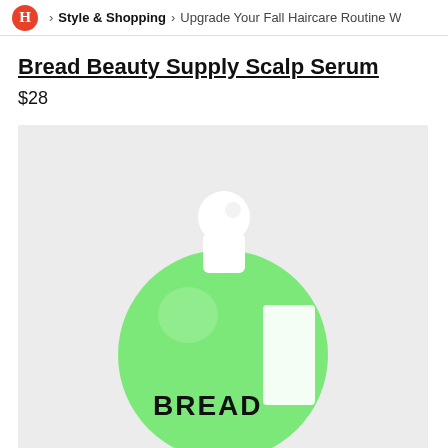H > Style & Shopping > Upgrade Your Fall Haircare Routine W
Bread Beauty Supply Scalp Serum
$28
[Figure (photo): A round green bottle of Bread Beauty Supply Scalp Serum with a white spherical dropper cap and white label, photographed on a light grey background.]